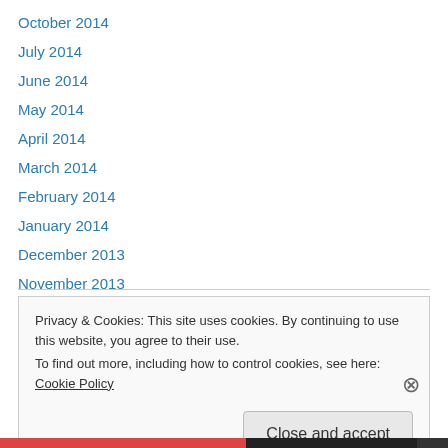October 2014
July 2014
June 2014
May 2014
April 2014
March 2014
February 2014
January 2014
December 2013
November 2013
July 2013
Privacy & Cookies: This site uses cookies. By continuing to use this website, you agree to their use.
To find out more, including how to control cookies, see here: Cookie Policy
Close and accept